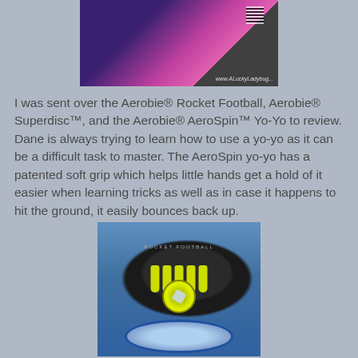[Figure (photo): Top photo showing Aerobie product packaging with purple/pink colors and QR code, with website text visible]
I was sent over the Aerobie® Rocket Football, Aerobie® Superdisc™, and the Aerobie® AeroSpin™ Yo-Yo to review. Dane is always trying to learn how to use a yo-yo as it can be a difficult task to master. The AeroSpin yo-yo has a patented soft grip which helps little hands get a hold of it easier when learning tricks as well as in case it happens to hit the ground, it easily bounces back up.
[Figure (photo): Photo showing Aerobie Rocket Football (black with yellow fins), AeroSpin Yo-Yo (yellow/green), and Superdisc (blue), arranged together on a surface]